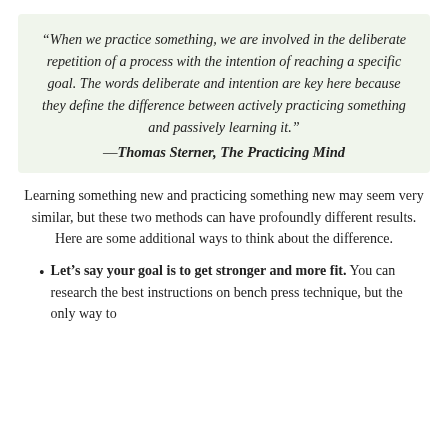“When we practice something, we are involved in the deliberate repetition of a process with the intention of reaching a specific goal. The words deliberate and intention are key here because they define the difference between actively practicing something and passively learning it.” —Thomas Sterner, The Practicing Mind
Learning something new and practicing something new may seem very similar, but these two methods can have profoundly different results. Here are some additional ways to think about the difference.
Let’s say your goal is to get stronger and more fit. You can research the best instructions on bench press technique, but the only way to